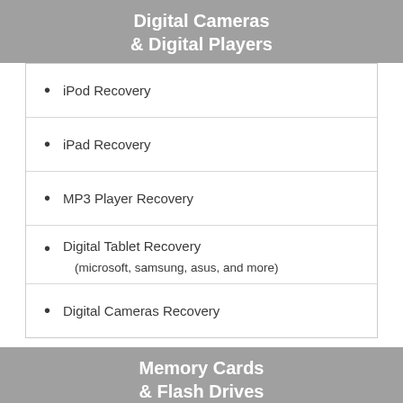Digital Cameras & Digital Players
iPod Recovery
iPad Recovery
MP3 Player Recovery
Digital Tablet Recovery
(microsoft, samsung, asus, and more)
Digital Cameras Recovery
Memory Cards & Flash Drives